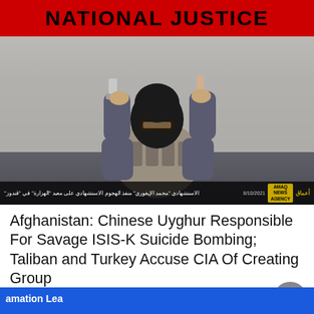NATIONAL JUSTICE
[Figure (photo): Masked person in tactical vest holding a weapon in one hand and pointing one finger up with the other hand. Bottom bar shows Arabic text and AMAQ NEWS AGENCY watermark with date 8/10/2021.]
Afghanistan: Chinese Uyghur Responsible For Savage ISIS-K Suicide Bombing; Taliban and Turkey Accuse CIA Of Creating Group
Eric Striker  October 14  🔥 1,312
[Figure (photo): Partial view of bottom strip showing 'amation Lea' text on blue background — partial image of next article.]